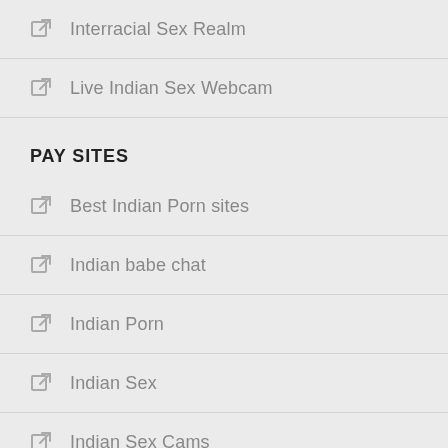Interracial Sex Realm
Live Indian Sex Webcam
PAY SITES
Best Indian Porn sites
Indian babe chat
Indian Porn
Indian Sex
Indian Sex Cams
Interracial Fucking